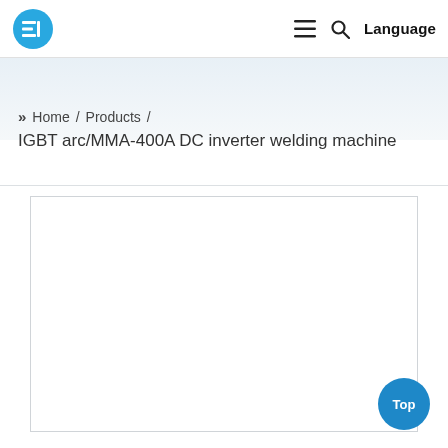Logo / Navigation bar with hamburger menu, search icon, and Language button
» Home / Products / IGBT arc/MMA-400A DC inverter welding machine
[Figure (photo): Product image area — white bordered box containing photo of IGBT arc/MMA-400A DC inverter welding machine]